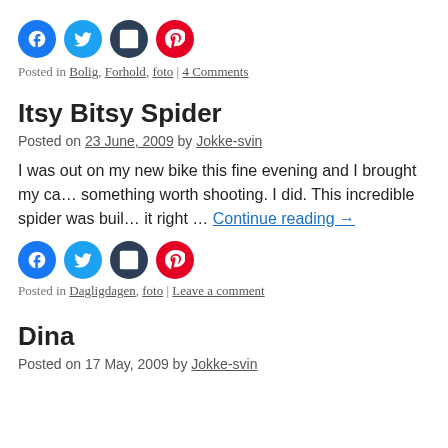[Figure (other): Social share icons: Facebook, Twitter, Tumblr, Pinterest]
Posted in Bolig, Forhold, foto | 4 Comments
Itsy Bitsy Spider
Posted on 23 June, 2009 by Jokke-svin
I was out on my new bike this fine evening and I brought my ca… something worth shooting. I did. This incredible spider was buil… it right … Continue reading →
[Figure (other): Social share icons: Facebook, Twitter, Tumblr, Pinterest]
Posted in Dagligdagen, foto | Leave a comment
Dina
Posted on 17 May, 2009 by Jokke-svin